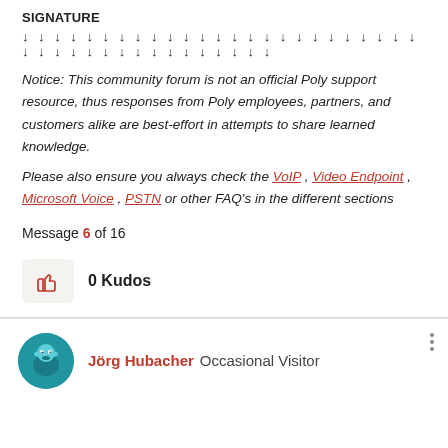SIGNATURE
↓ ↓ ↓ ↓ ↓ ↓ ↓ ↓ ↓ ↓ ↓ ↓ ↓ ↓ ↓ ↓ ↓ ↓ ↓ ↓ ↓ ↓ ↓ ↓ ↓ ↓ ↓ ↓ ↓ ↓ ↓ ↓ ↓ ↓ ↓ ↓ ↓ ↓ ↓ ↓ ↓
Notice: This community forum is not an official Poly support resource, thus responses from Poly employees, partners, and customers alike are best-effort in attempts to share learned knowledge.
Please also ensure you always check the VoIP, Video Endpoint, Microsoft Voice, PSTN or other FAQ's in the different sections
Message 6 of 16
0 Kudos
Jörg Hubacher Occasional Visitor